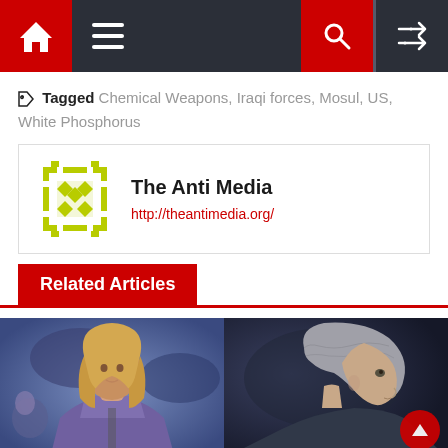Navigation bar with home, menu, search, and random icons
Tagged Chemical Weapons, Iraqi forces, Mosul, US, White Phosphorus
The Anti Media
http://theantimedia.org/
Related Articles
[Figure (photo): Two side-by-side photos: left shows a blonde woman (Hillary Clinton) at a podium in a purple jacket; right shows a grey-haired woman (Jill Stein) in profile view against a dark background]